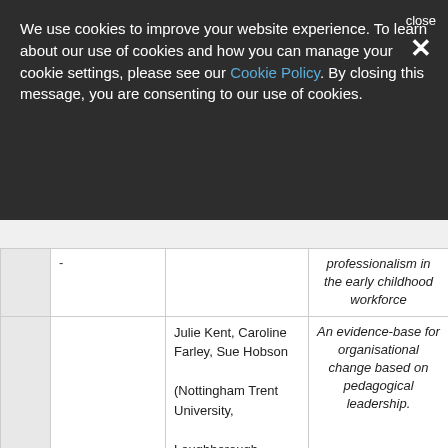We use cookies to improve your website experience. To learn about our use of cookies and how you can manage your cookie settings, please see our Cookie Policy. By closing this message, you are consenting to our use of cookies.
|  |  | Authors | Title |
| --- | --- | --- | --- |
| - |  |  | professionalism in the early childhood workforce |
|  |  | Julie Kent, Caroline Farley, Sue Hobson (Nottingham Trent University, Loughborough University | An evidence-base for organisational change based on pedagogical leadership. |